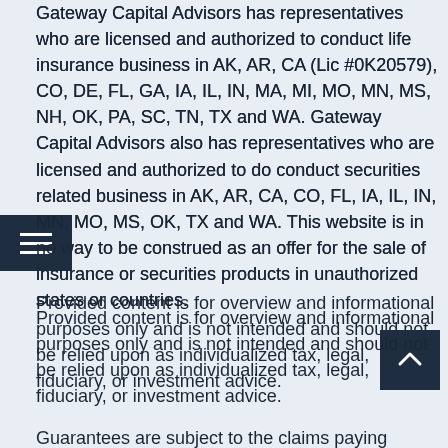Gateway Capital Advisors has representatives who are licensed and authorized to conduct life insurance business in AK, AR, CA (Lic #0K20579), CO, DE, FL, GA, IA, IL, IN, MA, MI, MO, MN, MS, NH, OK, PA, SC, TN, TX and WA. Gateway Capital Advisors also has representatives who are licensed and authorized to do conduct securities related business in AK, AR, CA, CO, FL, IA, IL, IN, MN, MO, MS, OK, TX and WA. This website is in no way to be construed as an offer for the sale of insurance or securities products in unauthorized states or countries.
Provided content is for overview and informational purposes only and is not intended and should not be relied upon as individualized tax, legal, fiduciary, or investment advice.
Guarantees are subject to the claims paying ability of the issuing insurance company.
Not affiliated with or endorsed by the Social Security